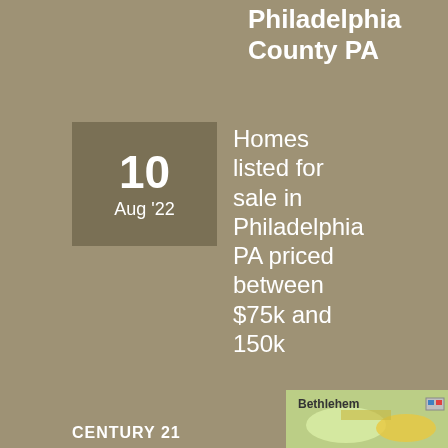Philadelphia County PA
10
Aug '22
Homes listed for sale in Philadelphia PA priced between $75k and 150k
15
Oct '21
Selling Your Home? Don't Skip These 3 Essential Steps or Your Sale Will Suffer
CENTURY 21
[Figure (map): Bethlehem area map thumbnail]